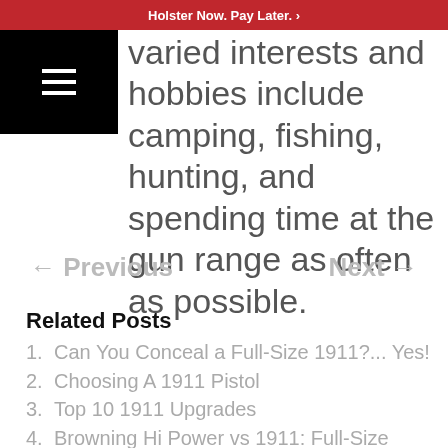Holster Now. Pay Later. >
varied interests and hobbies include camping, fishing, hunting, and spending time at the gun range as often as possible.
← Previous    Next →
Related Posts
1. Can You Conceal a Full-Size 1911?... Yes!
2. Choosing A 1911 Pistol
3. Top 10 1911 Upgrades
4. Browning Hi Power vs 1911: Full-Size Faceoff